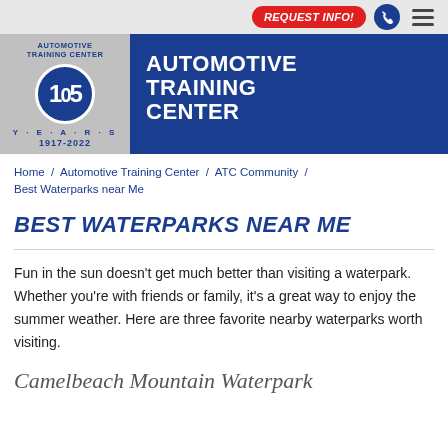[Figure (logo): Automotive Training Center logo with 105 years badge, Y·E·A·R·S text, and 1917-2022 dates]
AUTOMOTIVE TRAINING CENTER
Home / Automotive Training Center / ATC Community / Best Waterparks near Me
BEST WATERPARKS NEAR ME
Fun in the sun doesn't get much better than visiting a waterpark. Whether you're with friends or family, it's a great way to enjoy the summer weather. Here are three favorite nearby waterparks worth visiting.
Camelbeach Mountain Waterpark